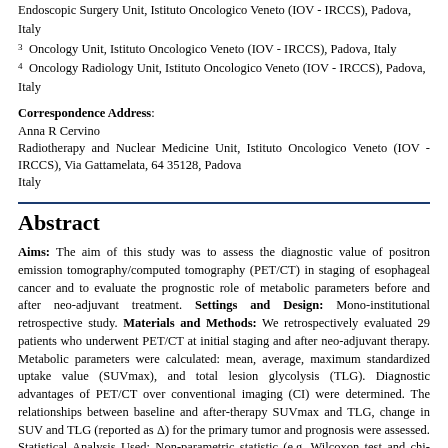Endoscopic Surgery Unit, Istituto Oncologico Veneto (IOV - IRCCS), Padova, Italy
3 Oncology Unit, Istituto Oncologico Veneto (IOV - IRCCS), Padova, Italy
4 Oncology Radiology Unit, Istituto Oncologico Veneto (IOV - IRCCS), Padova, Italy
Correspondence Address: Anna R Cervino
Radiotherapy and Nuclear Medicine Unit, Istituto Oncologico Veneto (IOV - IRCCS), Via Gattamelata, 64 35128, Padova
Italy
Abstract
Aims: The aim of this study was to assess the diagnostic value of positron emission tomography/computed tomography (PET/CT) in staging of esophageal cancer and to evaluate the prognostic role of metabolic parameters before and after neo-adjuvant treatment. Settings and Design: Mono-institutional retrospective study. Materials and Methods: We retrospectively evaluated 29 patients who underwent PET/CT at initial staging and after neo-adjuvant therapy. Metabolic parameters were calculated: mean, average, maximum standardized uptake value (SUVmax), and total lesion glycolysis (TLG). Diagnostic advantages of PET/CT over conventional imaging (CI) were determined. The relationships between baseline and after-therapy SUVmax and TLG, change in SUV and TLG (reported as Δ) for the primary tumor and prognosis were assessed. Statistical Analysis Used: Non-parametric statistic (e.g. Wilcoxon test and chi-square test). Results: Twenty-nine patients were eligible for the initial staging. Thirteen patients were incorrectly staged based on CI; PET/CT